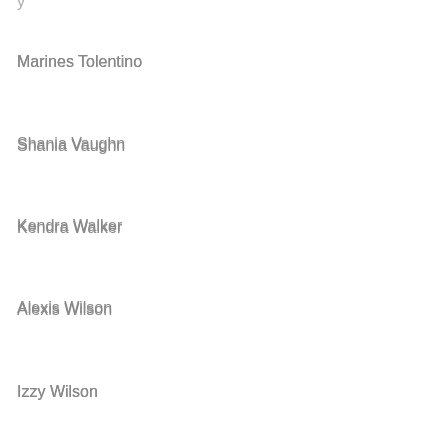Marines Tolentino
Shania Vaughn
Kendra Walker
Alexis Wilson
Izzy Wilson
Detroit, Michigan
Aaron Ashley
Dior Bolton
Keith Carter
Arlan Chambliss
Reginald Cole
Jerry Crysler
Alejandra Enriquez